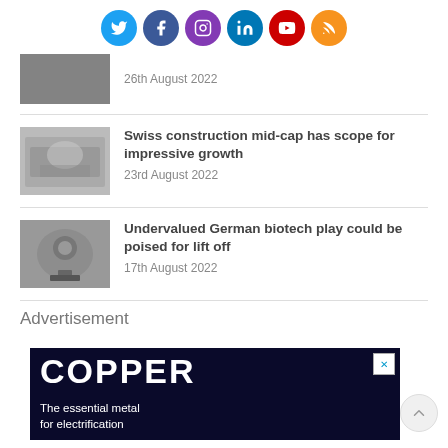[Figure (infographic): Social media icons row: Twitter (blue), Facebook (dark blue), Instagram (purple), LinkedIn (blue), YouTube (red), RSS (orange)]
26th August 2022
Swiss construction mid-cap has scope for impressive growth
23rd August 2022
Undervalued German biotech play could be poised for lift off
17th August 2022
Advertisement
[Figure (screenshot): Advertisement banner: COPPER - The essential metal for electrification, dark blue background]